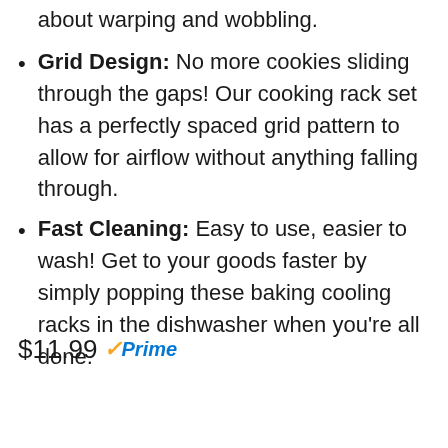about warping and wobbling.
Grid Design: No more cookies sliding through the gaps! Our cooking rack set has a perfectly spaced grid pattern to allow for airflow without anything falling through.
Fast Cleaning: Easy to use, easier to wash! Get to your goods faster by simply popping these baking cooling racks in the dishwasher when you're all done.
$11.99 ✓Prime